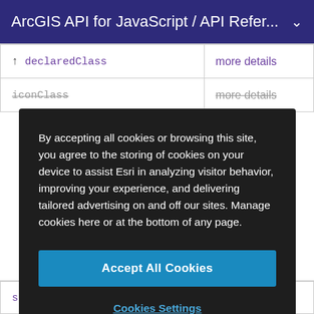ArcGIS API for JavaScript / API Refer...
| ↑ declaredClass | more details |
| iconClass | more details |
By accepting all cookies or browsing this site, you agree to the storing of cookies on your device to assist Esri in analyzing visitor behavior, improving your experience, and delivering tailored advertising on and off our sites. Manage cookies here or at the bottom of any page.
Accept All Cookies
Cookies Settings
| selectionEnabled | more details |